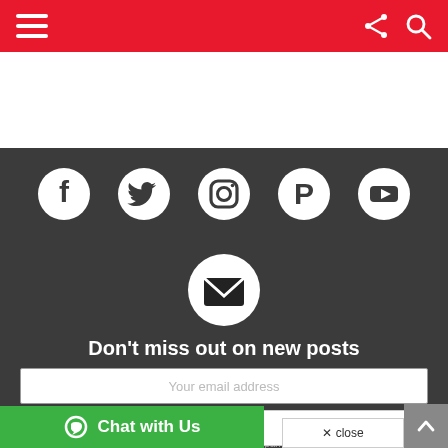Navigation bar with menu, share, and search icons
[Figure (infographic): Social media icons row: Facebook, Twitter, Instagram, Pinterest, YouTube on dark background]
[Figure (infographic): Envelope icon in white circle on dark background]
Don't miss out on new posts
Your email address
SIGN UP
Chat with Us
Don't worry, we don't spam